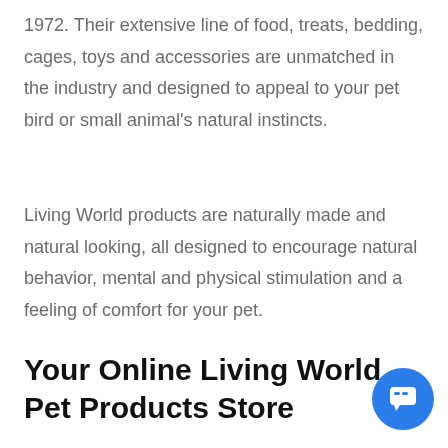1972. Their extensive line of food, treats, bedding, cages, toys and accessories are unmatched in the industry and designed to appeal to your pet bird or small animal's natural instincts.
Living World products are naturally made and natural looking, all designed to encourage natural behavior, mental and physical stimulation and a feeling of comfort for your pet.
Your Online Living World Pet Products Store